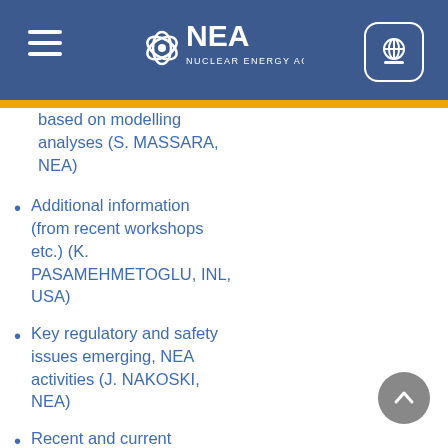NEA Nuclear Energy Agency
based on modelling analyses (S. MASSARA, NEA)
Additional information (from recent workshops etc.) (K. PASAMEHMETOGLU, INL, USA)
Key regulatory and safety issues emerging, NEA activities (J. NAKOSKI, NEA)
Recent and current activities of the OECD/NEA Working Group on Fuel Safety (NEA/CSNI) (M. PETIT, IRSN, France)
Summary of the current status of the lessons